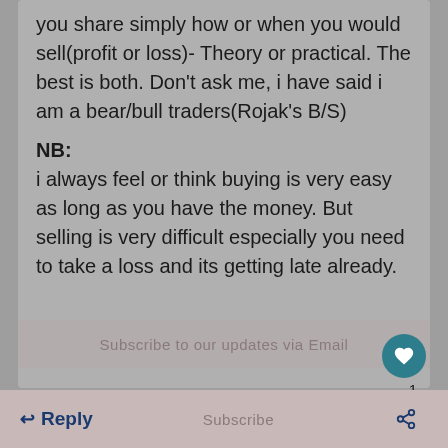you share simply how or when you would sell(profit or loss)- Theory or practical. The best is both. Don't ask me, i have said i am a bear/bull traders(Rojak's B/S)
NB:
i always feel or think buying is very easy as long as you have the money. But selling is very difficult especially you need to take a loss and its getting late already.
← Reply